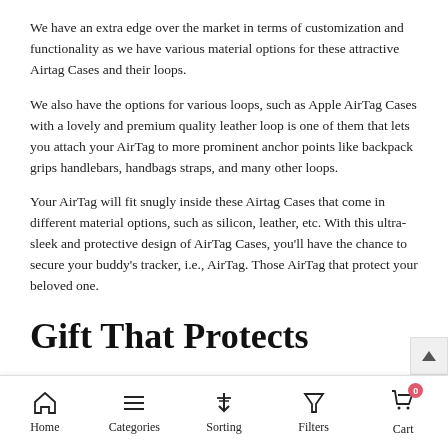We have an extra edge over the market in terms of customization and functionality as we have various material options for these attractive Airtag Cases and their loops.
We also have the options for various loops, such as Apple AirTag Cases with a lovely and premium quality leather loop is one of them that lets you attach your AirTag to more prominent anchor points like backpack grips handlebars, handbags straps, and many other loops.
Your AirTag will fit snugly inside these Airtag Cases that come in different material options, such as silicon, leather, etc. With this ultra-sleek and protective design of AirTag Cases, you'll have the chance to secure your buddy's tracker, i.e., AirTag. Those AirTag that protect your beloved one.
Gift That Protects
When it comes to gifting to someone, why don't you gift something
Home   Categories   Sorting   Filters   Cart